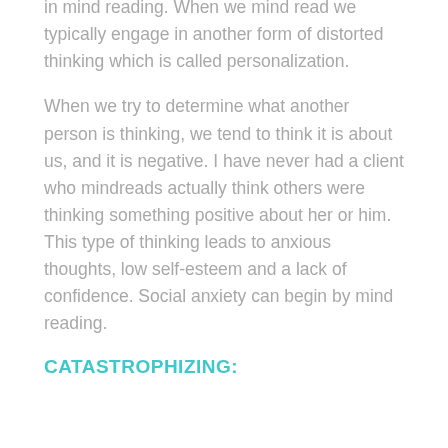in mind reading. When we mind read we typically engage in another form of distorted thinking which is called personalization.
When we try to determine what another person is thinking, we tend to think it is about us, and it is negative. I have never had a client who mindreads actually think others were thinking something positive about her or him. This type of thinking leads to anxious thoughts, low self-esteem and a lack of confidence. Social anxiety can begin by mind reading.
CATASTROPHIZING: